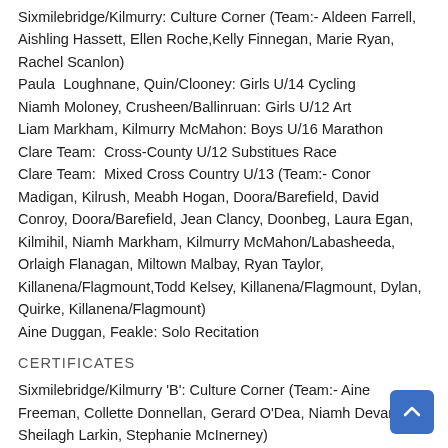Sixmilebridge/Kilmurry: Culture Corner (Team:- Aldeen Farrell, Aishling Hassett, Ellen Roche, Kelly Finnegan, Marie Ryan, Rachel Scanlon)
Paula Loughnane, Quin/Clooney: Girls U/14 Cycling
Niamh Moloney, Crusheen/Ballinruan: Girls U/12 Art
Liam Markham, Kilmurry McMahon: Boys U/16 Marathon
Clare Team: Cross-County U/12 Substitues Race
Clare Team: Mixed Cross Country U/13 (Team:- Conor Madigan, Kilrush, Meabh Hogan, Doora/Barefield, David Conroy, Doora/Barefield, Jean Clancy, Doonbeg, Laura Egan, Kilmihil, Niamh Markham, Kilmurry McMahon/Labasheeda, Orlaigh Flanagan, Miltown Malbay, Ryan Taylor, Killanena/Flagmount,Todd Kelsey, Killanena/Flagmount, Dylan, Quirke, Killanena/Flagmount)
Aine Duggan, Feakle: Solo Recitation
CERTIFICATES
Sixmilebridge/Kilmurry 'B': Culture Corner (Team:- Aine Freeman, Collette Donnellan, Gerard O'Dea, Niamh Devanny, Sheilagh Larkin, Stephanie McInerney)
Feakle: Group Modern Dance (Team:-Dylan Bickerton, Laura Nelson, Megan